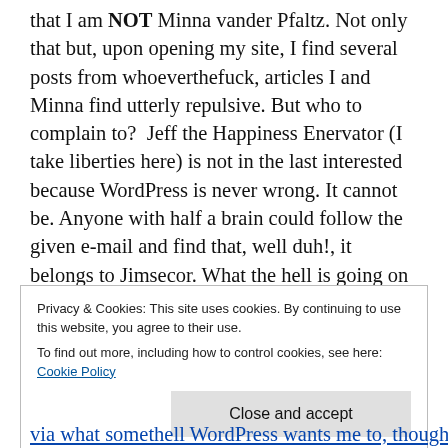that I am NOT Minna vander Pfaltz. Not only that but, upon opening my site, I find several posts from whoeverthefuck, articles I and Minna find utterly repulsive. But who to complain to?  Jeff the Happiness Enervator (I take liberties here) is not in the last interested because WordPress is never wrong. It cannot be. Anyone with half a brain could follow the given e-mail and find that, well duh!, it belongs to Jimsecor. What the hell is going on here? I'm sure that whoeverthehell posted to MY site has no idea where the title came from or what it means. How the hell did this happen?
Privacy & Cookies: This site uses cookies. By continuing to use this website, you agree to their use.
To find out more, including how to control cookies, see here: Cookie Policy
Close and accept
via what somethell WordPress wants me to, though